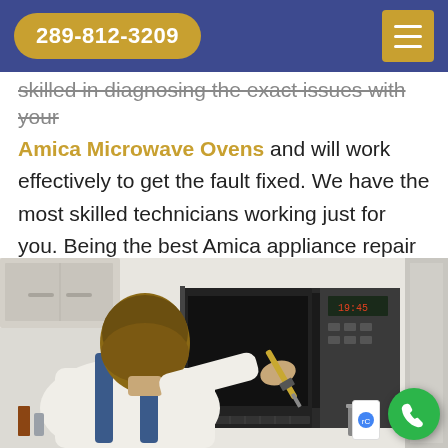289-812-3209
skilled in diagnosing the exact issues with your Amica Microwave Ovens and will work effectively to get the fault fixed. We have the most skilled technicians working just for you. Being the best Amica appliance repair company in Burlington, we strive to maintain our repute by offering five-star services to our customers.
[Figure (photo): A male technician in white shirt and blue overalls using a screwdriver to repair an open microwave oven mounted on a kitchen counter.]